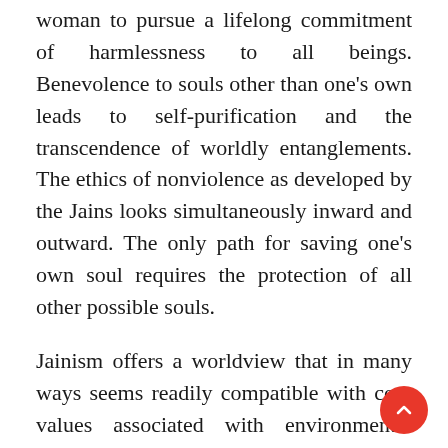woman to pursue a lifelong commitment of harmlessness to all beings. Benevolence to souls other than one's own leads to self-purification and the transcendence of worldly entanglements. The ethics of nonviolence as developed by the Jains looks simultaneously inward and outward. The only path for saving one's own soul requires the protection of all other possible souls.
Jainism offers a worldview that in many ways seems readily compatible with core values associated with environmental activism. While both uphold the protection of life, the underlying motives governing the Jain faith and those governing environmental activism do differ. First, as various authors in this book will point out, the telos or goal of Jainism lies beyond all worldly concerns. The Jain observances of nonviolence, for instance, are not ultimately